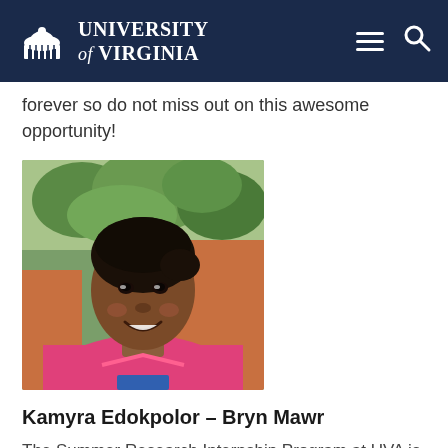University of Virginia
forever so do not miss out on this awesome opportunity!
[Figure (photo): Portrait photo of Kamyra Edokpolor, a young woman wearing a pink shirt, smiling, with green trees in the background.]
Kamyra Edokpolor – Bryn Mawr
The Summer Research Internship Program at UVA is